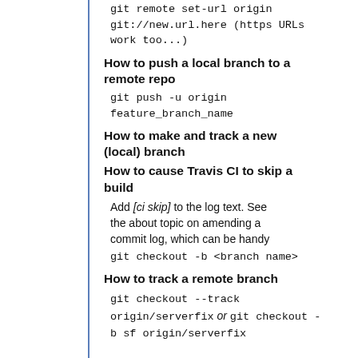git remote set-url origin git://new.url.here (https URLs work too...)
How to push a local branch to a remote repo
git push -u origin feature_branch_name
How to make and track a new (local) branch
How to cause Travis CI to skip a build
Add [ci skip] to the log text. See the about topic on amending a commit log, which can be handy git checkout -b <branch name>
How to track a remote branch
git checkout --track origin/serverfix or git checkout -b sf origin/serverfix